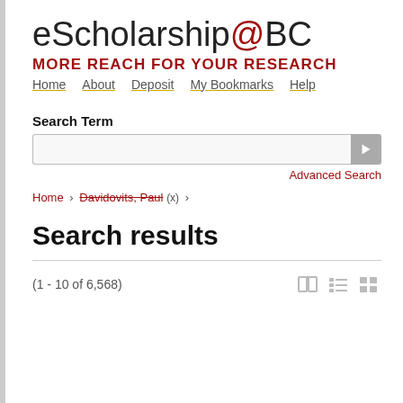eScholarship@BC MORE REACH FOR YOUR RESEARCH
Home  About  Deposit  My Bookmarks  Help
Search Term
[Figure (screenshot): Search input box with arrow/submit button on right]
Advanced Search
Home › Davidovits, Paul (x) ›
Search results
(1 - 10 of 6,568)